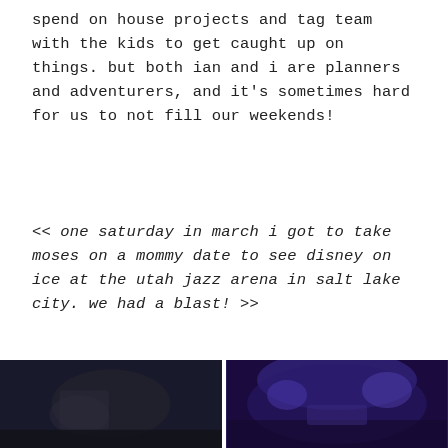spend on house projects and tag team with the kids to get caught up on things. but both ian and i are planners and adventurers, and it's sometimes hard for us to not fill our weekends!
<< one saturday in march i got to take moses on a mommy date to see disney on ice at the utah jazz arena in salt lake city. we had a blast! >>
[Figure (photo): Left photo: dark scene, possibly a child or figure at Disney on Ice event]
[Figure (photo): Right photo: blue-purple lit ice arena scene from Disney on Ice show]